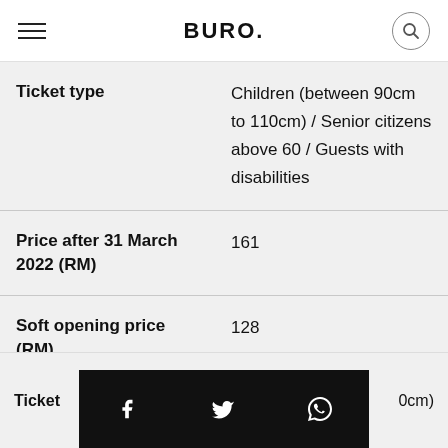BURO.
| Ticket type | Children (between 90cm to 110cm) / Senior citizens above 60 / Guests with disabilities |
| Price after 31 March 2022 (RM) | 161 |
| Soft opening price (RM) | 128 |
Ticket ... 0cm)